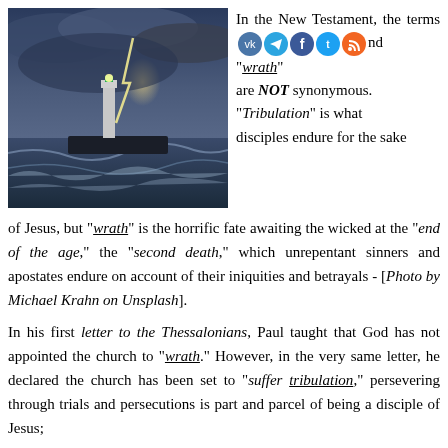[Figure (photo): Stormy seascape with a lighthouse and dramatic lightning in the background, waves crashing.]
In the New Testament, the terms [social icons] and "wrath" are NOT synonymous. "Tribulation" is what disciples endure for the sake of Jesus, but "wrath" is the horrific fate awaiting the wicked at the "end of the age," the "second death," which unrepentant sinners and apostates endure on account of their iniquities and betrayals - [Photo by Michael Krahn on Unsplash].
In his first letter to the Thessalonians, Paul taught that God has not appointed the church to "wrath." However, in the very same letter, he declared the church has been set to "suffer tribulation," persevering through trials and persecutions is part and parcel of being a disciple of Jesus;